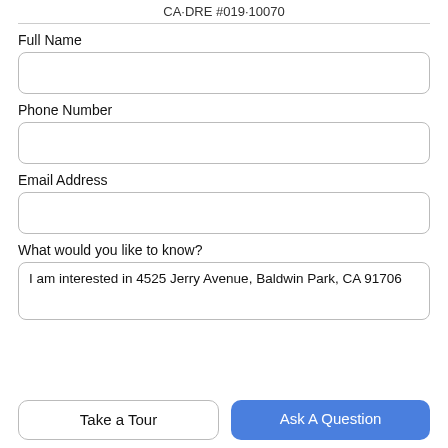CA·DRE #019·10070
Full Name
Phone Number
Email Address
What would you like to know?
I am interested in 4525 Jerry Avenue, Baldwin Park, CA 91706
Take a Tour
Ask A Question